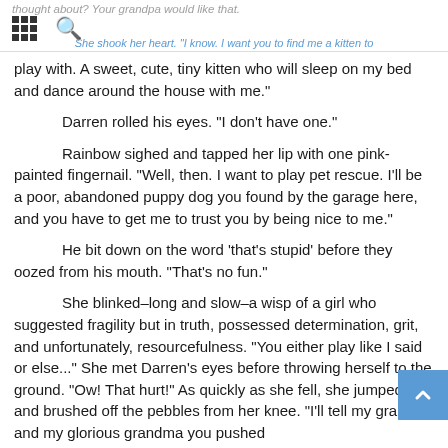thought about? Your grandpa would like that. | She shook her heart. "I know. I want you to find me a kitten to play with. A sweet, cute, tiny kitten who will sleep on my bed and dance around the house with me."
play with. A sweet, cute, tiny kitten who will sleep on my bed and dance around the house with me."
Darren rolled his eyes. “I don’t have one.”
Rainbow sighed and tapped her lip with one pink-painted fingernail. “Well, then. I want to play pet rescue. I’ll be a poor, abandoned puppy dog you found by the garage here, and you have to get me to trust you by being nice to me.”
He bit down on the word ‘that’s stupid’ before they oozed from his mouth. “That’s no fun.”
She blinked–long and slow–a wisp of a girl who suggested fragility but in truth, possessed determination, grit, and unfortunately, resourcefulness. “You either play like I said or else...” She met Darren’s eyes before throwing herself to the ground. “Ow! That hurt!” As quickly as she fell, she jumped up and brushed off the pebbles from her knee. “I’ll tell my grandpa and my glorious grandma you pushed